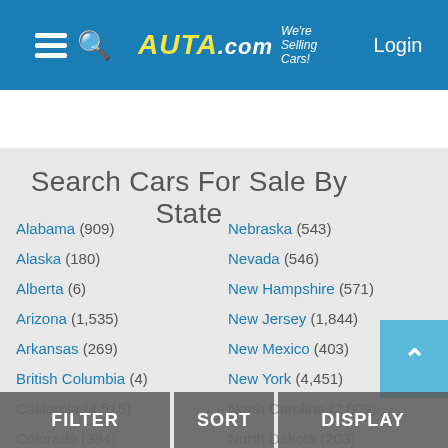AUTA.com We're Selling Cars! Login
Search Cars For Sale By State
Alabama (909)
Alaska (180)
Alberta (6)
Arizona (1,535)
Arkansas (269)
British Columbia (4)
California (4,516)
Colorado (384)
Connecticut (927)
Nebraska (543)
Nevada (546)
New Hampshire (571)
New Jersey (1,844)
New Mexico (403)
New York (4,451)
North Carolina (2,009)
North Dakota (203)
Nova Scotia (1)